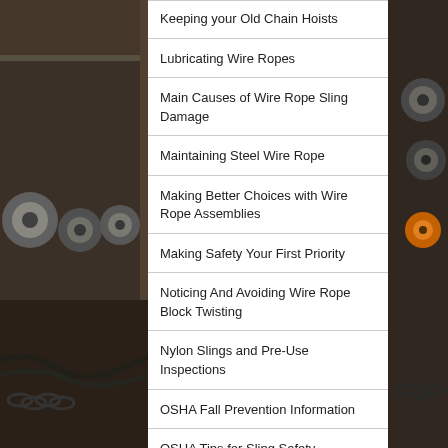[Figure (photo): Industrial warehouse background showing wire rope spools and chains on the left side and right side of the page]
Keeping your Old Chain Hoists
Lubricating Wire Ropes
Main Causes of Wire Rope Sling Damage
Maintaining Steel Wire Rope
Making Better Choices with Wire Rope Assemblies
Making Safety Your First Priority
Noticing And Avoiding Wire Rope Block Twisting
Nylon Slings and Pre-Use Inspections
OSHA Fall Prevention Information
OSHA Tips for Sling Safety
Polyester or Nylon Slings for Lifting?
Pre-installation Check List for Wire Ropes